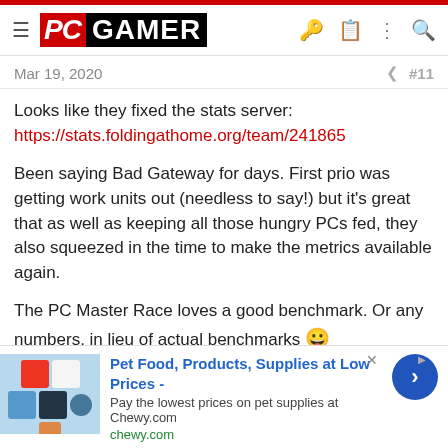PC GAMER
Mar 19, 2020  #11
Looks like they fixed the stats server:
https://stats.foldingathome.org/team/241865
Been saying Bad Gateway for days. First prio was getting work units out (needless to say!) but it's great that as well as keeping all those hungry PCs fed, they also squeezed in the time to make the metrics available again.
The PC Master Race loves a good benchmark. Or any numbers, in lieu of actual benchmarks 😀
Folding@Home did an AMA on reddit earlier:
View:
https://www.reddit.com/r/pcmasterrace/comments/flem7o/ama_with_the_team_behind_fol...
[Figure (infographic): Advertisement banner for Chewy.com - Pet Food, Products, Supplies at Low Prices. Shows product images on left, text in middle, navigation arrow button on right.]